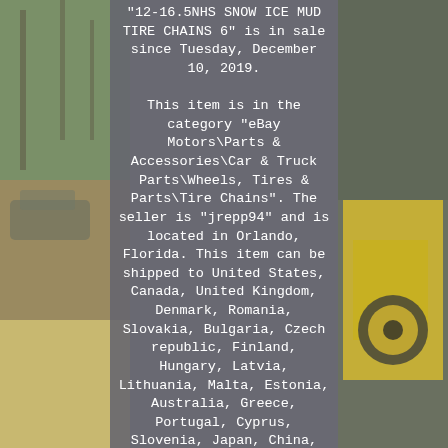[Figure (photo): Background photo of outdoor area with vehicles on left side and yellow construction equipment on right side, with a gray semi-transparent overlay panel in the center containing text.]
"12-16.5NHS SNOW ICE MUD TIRE CHAINS 6" is in sale since Tuesday, December 10, 2019. This item is in the category "eBay Motors\Parts & Accessories\Car & Truck Parts\Wheels, Tires & Parts\Tire Chains". The seller is "jrepp94" and is located in Orlando, Florida. This item can be shipped to United States, Canada, United Kingdom, Denmark, Romania, Slovakia, Bulgaria, Czech republic, Finland, Hungary, Latvia, Lithuania, Malta, Estonia, Australia, Greece, Portugal, Cyprus, Slovenia, Japan, China, Sweden, South Korea, Indonesia, Taiwan, South africa, Thailand, Belgium, France, Hong Kong, Ireland, Netherlands, Poland, Spain,